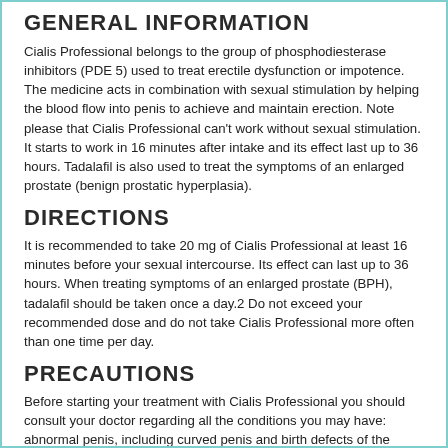GENERAL INFORMATION
Cialis Professional belongs to the group of phosphodiesterase inhibitors (PDE 5) used to treat erectile dysfunction or impotence. The medicine acts in combination with sexual stimulation by helping the blood flow into penis to achieve and maintain erection. Note please that Cialis Professional can't work without sexual stimulation. It starts to work in 16 minutes after intake and its effect last up to 36 hours. Tadalafil is also used to treat the symptoms of an enlarged prostate (benign prostatic hyperplasia).
DIRECTIONS
It is recommended to take 20 mg of Cialis Professional at least 16 minutes before your sexual intercourse. Its effect can last up to 36 hours. When treating symptoms of an enlarged prostate (BPH), tadalafil should be taken once a day.2 Do not exceed your recommended dose and do not take Cialis Professional more often than one time per day.
PRECAUTIONS
Before starting your treatment with Cialis Professional you should consult your doctor regarding all the conditions you may have: abnormal penis, including curved penis and birth defects of the penis, coronary artery disease, bleeding, stomach ulcers, arrhythmia, angina, heart attack or heart failure, hypo- or hypertension, diabetes, hyperlipidemia (excess of lipids in the blood), sickle-cell anemia, liver or kidney failure in history. Do not take Cialis Professional with grapefruit juice, alcoholic beverages or tobacco as it can lead to sudden optic nerve-related vision loss.